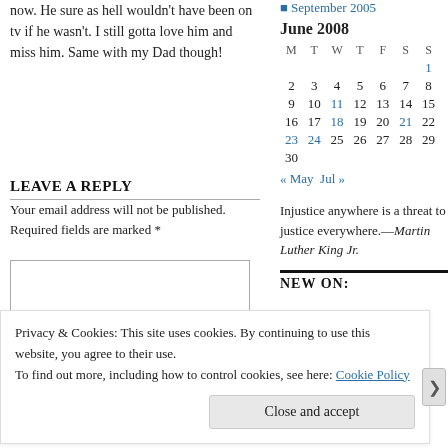now. He sure as hell wouldn't have been on tv if he wasn't. I still gotta love him and miss him. Same with my Dad though!
LEAVE A REPLY
Your email address will not be published. Required fields are marked *
[Figure (other): Comment text area input box]
September 2005
June 2008
| M | T | W | T | F | S | S |
| --- | --- | --- | --- | --- | --- | --- |
|  |  |  |  |  |  | 1 |
| 2 | 3 | 4 | 5 | 6 | 7 | 8 |
| 9 | 10 | 11 | 12 | 13 | 14 | 15 |
| 16 | 17 | 18 | 19 | 20 | 21 | 22 |
| 23 | 24 | 25 | 26 | 27 | 28 | 29 |
| 30 |  |  |  |  |  |  |
« May  Jul »
Injustice anywhere is a threat to justice everywhere.—Martin Luther King Jr.
NEW ON:
Privacy & Cookies: This site uses cookies. By continuing to use this website, you agree to their use. To find out more, including how to control cookies, see here: Cookie Policy
Close and accept